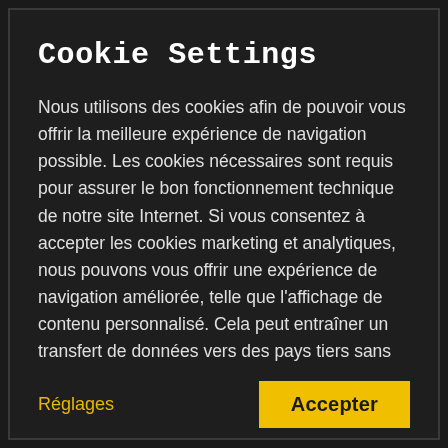Cookie Settings
Nous utilisons des cookies afin de pouvoir vous offrir la meilleure expérience de navigation possible. Les cookies nécessaires sont requis pour assurer le bon fonctionnement technique de notre site Internet. Si vous consentez à accepter les cookies marketing et analytiques, nous pouvons vous offrir une expérience de navigation améliorée, telle que l'affichage de contenu personnalisé. Cela peut entraîner un transfert de données vers des pays tiers sans
Réglages
Accepter